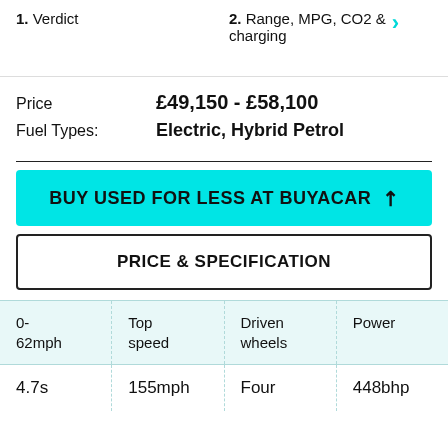1. Verdict	2. Range, MPG, CO2 & charging
Price	£49,150 - £58,100
Fuel Types:	Electric, Hybrid Petrol
BUY USED FOR LESS AT BUYACAR ↗
PRICE & SPECIFICATION
| 0-62mph | Top speed | Driven wheels | Power |
| --- | --- | --- | --- |
| 4.7s | 155mph | Four | 448bhp |